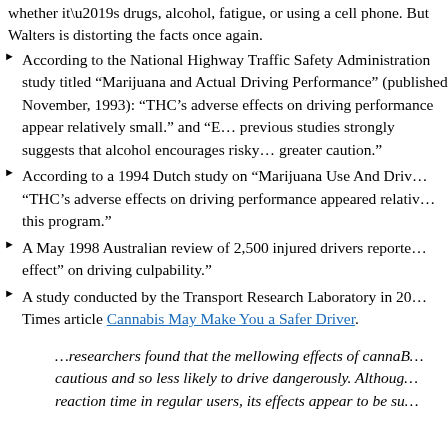whether it’s drugs, alcohol, fatigue, or using a cell phone. But Walters is distorting the facts once again.
According to the National Highway Traffic Safety Administration study titled “Marijuana and Actual Driving Performance” (published November, 1993): “THC’s adverse effects on driving performance appear relatively small.” and “E… previous studies strongly suggests that alcohol encourages risky… greater caution.”
According to a 1994 Dutch study on “Marijuana Use And Driv… “THC’s adverse effects on driving performance appeared relativ… this program.”
A May 1998 Australian review of 2,500 injured drivers reporte… effect” on driving culpability.”
A study conducted by the Transport Research Laboratory in 20… Times article Cannabis May Make You a Safer Driver.
…researchers found that the mellowing effects of cannaB… cautious and so less likely to drive dangerously. Althoug… reaction time in regular users, its effects appear to be su…